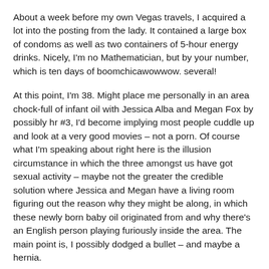About a week before my own Vegas travels, I acquired a lot into the posting from the lady. It contained a large box of condoms as well as two containers of 5-hour energy drinks. Nicely, I'm no Mathematician, but by your number, which is ten days of boomchicawowwow. several!
At this point, I'm 38. Might place me personally in an area chock-full of infant oil with Jessica Alba and Megan Fox by possibly hr #3, I'd become implying most people cuddle up and look at a very good movies – not a porn. Of course what I'm speaking about right here is the illusion circumstance in which the three amongst us have got sexual activity – maybe not the greater the credible solution where Jessica and Megan have a living room figuring out the reason why they might be along, in which these newly born baby oil originated from and why there's an English person playing furiously inside the area. The main point is, I possibly dodged a bullet – and maybe a hernia.